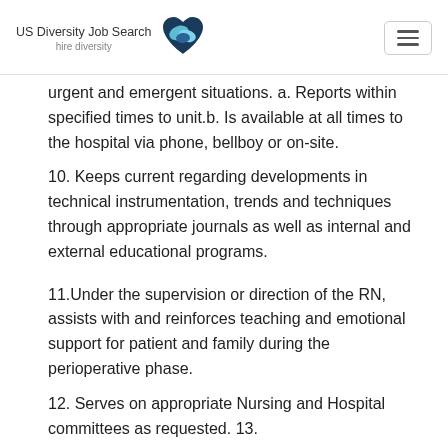US Diversity Job Search — hire diversity
urgent and emergent situations. a. Reports within specified times to unit.b. Is available at all times to the hospital via phone, bellboy or on-site.
10. Keeps current regarding developments in technical instrumentation, trends and techniques through appropriate journals as well as internal and external educational programs.
11.Under the supervision or direction of the RN, assists with and reinforces teaching and emotional support for patient and family during the perioperative phase.
12. Serves on appropriate Nursing and Hospital committees as requested. 13.